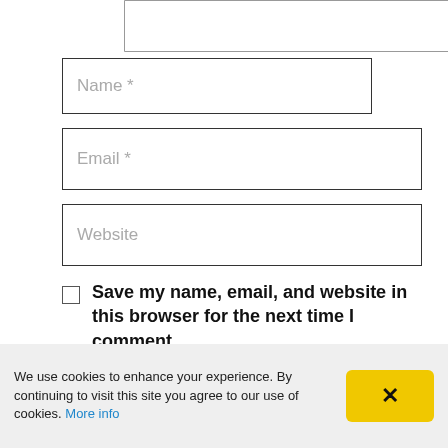[Figure (screenshot): Textarea input box (top portion visible, partially cropped at top of page)]
Name *
Email *
Website
Save my name, email, and website in this browser for the next time I comment.
Post Comment
We use cookies to enhance your experience. By continuing to visit this site you agree to our use of cookies. More info